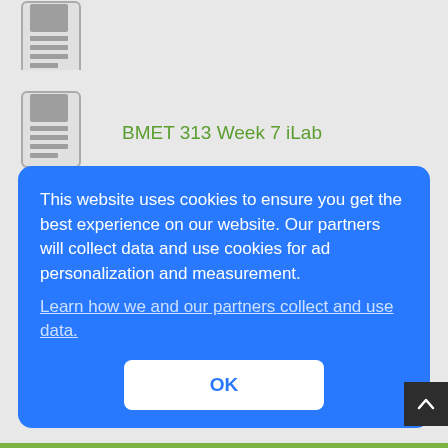[Figure (illustration): Document icon (gray, cropped at top)]
BMET 313 Week 7 iLab
BMET 323 Week 1 iLab
This website uses cookies to ensure you get the best experience on our website. Our partners will collect data and use cookies for ad personalization and measurement.
Learn how we and our partners collect and use data.
OK